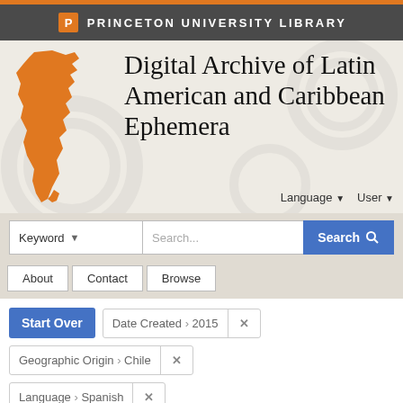PRINCETON UNIVERSITY LIBRARY
Digital Archive of Latin American and Caribbean Ephemera
Language ▾   User ▾
Keyword ▾   Search...   Search
About   Contact   Browse
Start Over
Date Created › 2015 ✕
Geographic Origin › Chile ✕
Language › Spanish ✕
Category › Arts and culture ✕